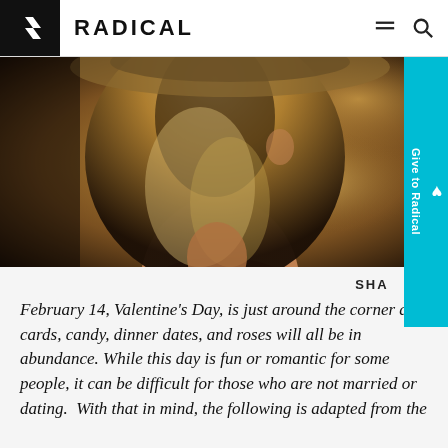[Figure (logo): Radical logo: black box with white R chevron icon, followed by RADICAL wordmark in bold uppercase]
[Figure (photo): Close-up photo of a woman with long blonde hair seen from behind, warm bokeh background with autumn colors]
SHA
February 14, Valentine’s Day, is just around the corner and cards, candy, dinner dates, and roses will all be in abundance. While this day is fun or romantic for some people, it can be difficult for those who are not married or dating. With that in mind, the following is adapted from the